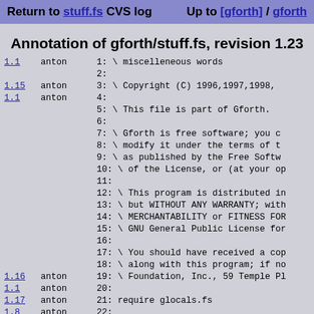Return to stuff.fs CVS log    Up to [gforth] / gforth
Annotation of gforth/stuff.fs, revision 1.23
1.1  anton  1: \ miscelleneous words
     2:
1.15 anton  3: \ Copyright (C) 1996,1997,1998,
1.1  anton  4:
     5: \ This file is part of Gforth.
     6:
     7: \ Gforth is free software; you c
     8: \ modify it under the terms of t
     9: \ as published by the Free Softw
     10: \ of the License, or (at your op
     11:
     12: \ This program is distributed in
     13: \ but WITHOUT ANY WARRANTY; with
     14: \ MERCHANTABILITY or FITNESS FOR
     15: \ GNU General Public License for
     16:
     17: \ You should have received a cop
     18: \ along with this program; if no
1.16 anton  19: \ Foundation, Inc., 59 Temple Pl
1.1  anton  20:
1.17 anton  21: require glocals.fs
1.8  anton  22:
1.6  anton  23: ' require alias needs ( ... "nar